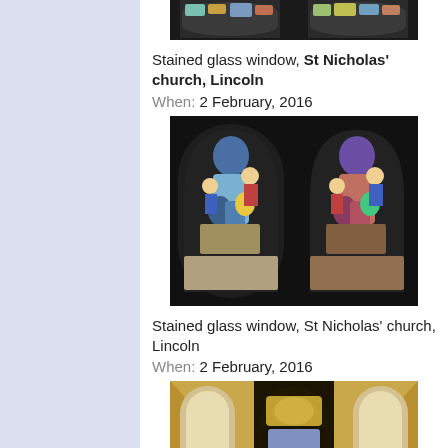[Figure (photo): Stained glass window photo (top, partially cropped) showing two narrow arched panels at St Nicholas' church, Lincoln]
Stained glass window, St Nicholas' church, Lincoln
When: 2 February, 2016
[Figure (photo): Stained glass window photo showing two tall arched panels with colorful biblical figures at St Nicholas' church, Lincoln]
Stained glass window, St Nicholas' church, Lincoln
When: 2 February, 2016
[Figure (photo): Interior church photo showing a central tall narrow stained glass window flanked by plain arched windows, at St Nicholas' church, Lincoln]